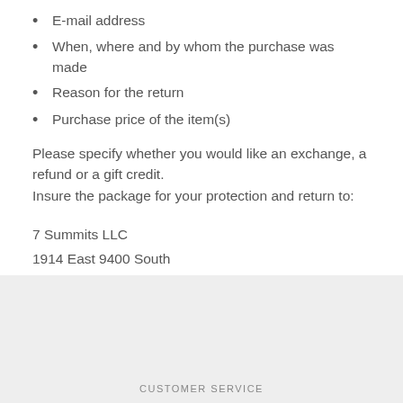E-mail address
When, where and by whom the purchase was made
Reason for the return
Purchase price of the item(s)
Please specify whether you would like an exchange, a refund or a gift credit.
Insure the package for your protection and return to:
7 Summits LLC
1914 East 9400 South
Suite 344
Sandy, UT 84093
CUSTOMER SERVICE